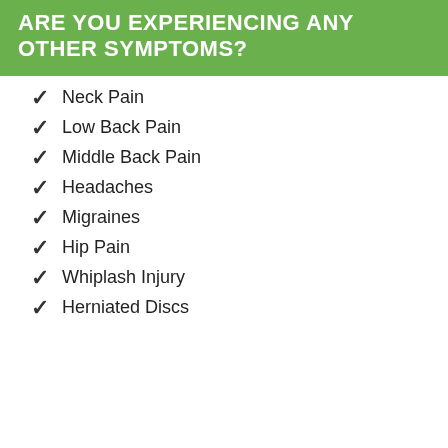ARE YOU EXPERIENCING ANY OTHER SYMPTOMS?
Neck Pain
Low Back Pain
Middle Back Pain
Headaches
Migraines
Hip Pain
Whiplash Injury
Herniated Discs